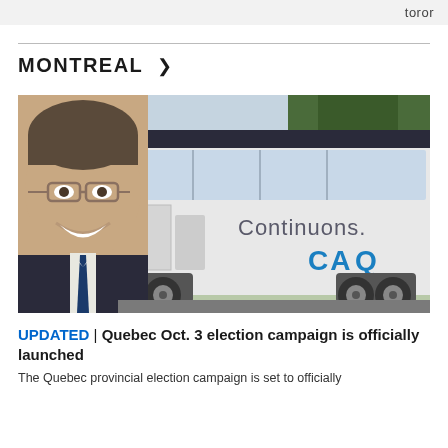toror
MONTREAL >
[Figure (photo): A campaign bus for the CAQ (Coalition Avenir Québec) with a large photo of a smiling man in a suit and tie on the side, with the text 'Continuons.' and the CAQ logo in blue.]
UPDATED | Quebec Oct. 3 election campaign is officially launched
The Quebec provincial election campaign is set to officially